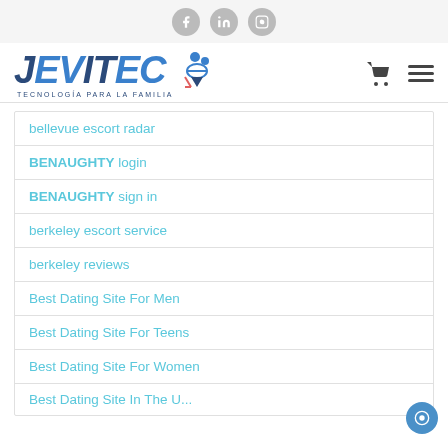Social icons: Facebook, LinkedIn, Instagram
[Figure (logo): JEVITEC logo with person/family icon and tagline TECNOLOGÍA PARA LA FAMILIA, plus cart and hamburger menu icons]
bellevue escort radar
BENAUGHTY login
BENAUGHTY sign in
berkeley escort service
berkeley reviews
Best Dating Site For Men
Best Dating Site For Teens
Best Dating Site For Women
Best Dating Site In The U...